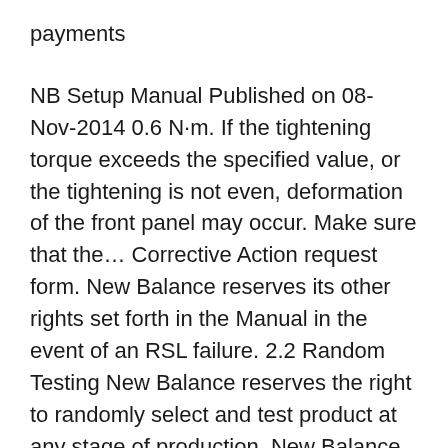payments
NB Setup Manual Published on 08-Nov-2014 0.6 N·m. If the tightening torque exceeds the specified value, or the tightening is not even, deformation of the front panel may occur. Make sure that the… Corrective Action request form. New Balance reserves its other rights set forth in the Manual in the event of an RSL failure. 2.2 Random Testing New Balance reserves the right to randomly select and test product at any stage of production. New Balance will pay for this testing which is in addition to the routine quarterly testing. Any failures
Kick the intensity up a notch with new men's shoes on clearance. Find amazing, recently